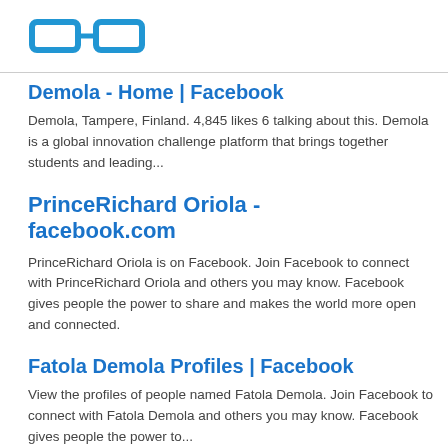[Figure (logo): Blue glasses/spectacles icon logo]
Demola - Home | Facebook
Demola, Tampere, Finland. 4,845 likes 6 talking about this. Demola is a global innovation challenge platform that brings together students and leading...
PrinceRichard Oriola - facebook.com
PrinceRichard Oriola is on Facebook. Join Facebook to connect with PrinceRichard Oriola and others you may know. Facebook gives people the power to share and makes the world more open and connected.
Fatola Demola Profiles | Facebook
View the profiles of people named Fatola Demola. Join Facebook to connect with Fatola Demola and others you may know. Facebook gives people the power to...